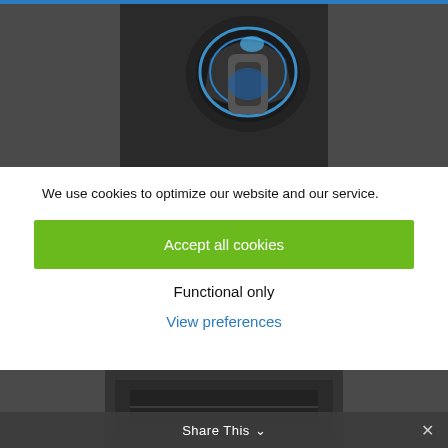[Figure (photo): Photo of an electric vehicle charging plug inserted into a car charging port, dark background with blue accent light]
We use cookies to optimize our website and our service.
Accept all cookies
Functional only
View preferences
[Figure (photo): Bottom portion of a webpage showing a dark gray background with partial image of a street or road scene]
Share This ∨  ✕